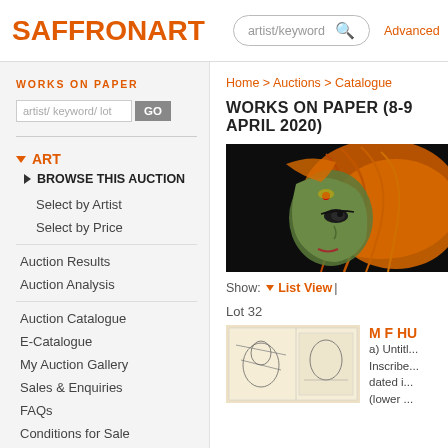SAFFRONART | artist/keyword | Advanced
WORKS ON PAPER
artist/ keyword/ lot
ART
BROWSE THIS AUCTION
Select by Artist
Select by Price
Auction Results
Auction Analysis
Auction Catalogue
E-Catalogue
My Auction Gallery
Sales & Enquiries
FAQs
Conditions for Sale
Home > Auctions > Catalogue
WORKS ON PAPER (8-9 APRIL 2020)
[Figure (photo): Artwork showing a woman's face in profile with orange/saffron hair against a dark background, traditional Indian art style]
Show: ▼ List View |
Lot 32
[Figure (photo): Thumbnail of artwork lot 32, pen/ink sketches on paper]
M F HU
a) Untitl... Inscribe... dated i... (lower ...